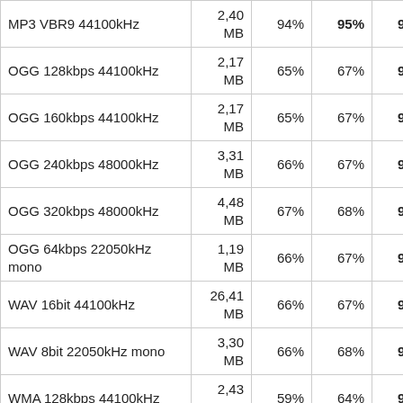| MP3 VBR9 44100kHz | 2,40 MB | 94% | 95% | 95% | 94% |
| OGG 128kbps 44100kHz | 2,17 MB | 65% | 67% | 90% | 53% |
| OGG 160kbps 44100kHz | 2,17 MB | 65% | 67% | 90% | 53% |
| OGG 240kbps 48000kHz | 3,31 MB | 66% | 67% | 93% | 53% |
| OGG 320kbps 48000kHz | 4,48 MB | 67% | 68% | 96% | 54% |
| OGG 64kbps 22050kHz mono | 1,19 MB | 66% | 67% | 92% | 53% |
| WAV 16bit 44100kHz | 26,41 MB | 66% | 67% | 96% | 54% |
| WAV 8bit 22050kHz mono | 3,30 MB | 66% | 68% | 93% | 54% |
| WMA 128kbps 44100kHz | 2,43 MB | 59% | 64% | 91% | 51% |
| WMA 192kbps 48000kHz | 3,64 MB | 62% | 66% | 90% | 52% |
| WMA 256kbps 48000kHz | 4,85 MB | 66% | 67% | 95% | 54% |